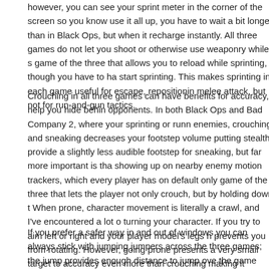however, you can see your sprint meter in the corner of the screen so you know use it all up, you have to wait a bit longer than in Black Ops, but when it recharge instantly. All three games do not let you shoot or otherwise use weaponry while s game of the three that allows you to reload while sprinting, though you have to ha start sprinting. This makes sprinting in each game useful for escape, repositionin melee attack, but not for run-and-gun tactics.
Crouching in all three games can have benefits for accuracy, help you hide behin opponents. In both Black Ops and Bad Company 2, where your sprinting or runn enemies, crouching and sneaking decreases your footstep volume putting stealth provide a slightly less audible footstep for sneaking, but far more important is tha showing up on nearby enemy motion trackers, which every player has on default only game of the three that lets the player not only crouch, but by holding down t When prone, character movement is literally a crawl, and I've encountered a lot o turning your character. If you try to aim left or right and your player model's legs h prevents you from rotating. However, going prone presents a very small target to accuracy even more than crouching making it worthwhile in many situations. Goi sends you into a jumping action hero dive which can create quite a dramatic entr even be used to dive through windows. It's a fun feature but isn't a game change
If you prefer a safer way in and out of windows you can always stick with jumping jumpers across the three games; the jump provides enough distance to jump ove the game compensates for the weak jump by providing the player with a vaulting